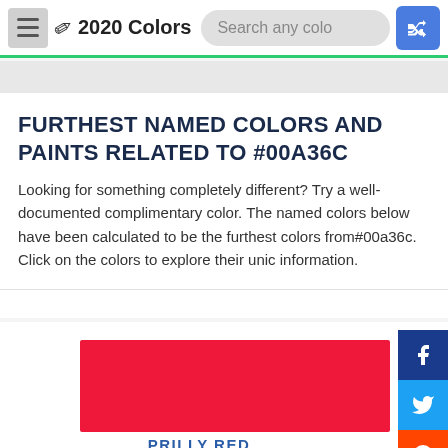2020 Colors
FURTHEST NAMED COLORS AND PAINTS RELATED TO #00A36C
Looking for something completely different? Try a well-documented complimentary color. The named colors below have been calculated to be the furthest colors from#00a36c. Click on the colors to explore their unique information.
[Figure (other): Red color swatch for PRILLY RED]
PRILLY RED